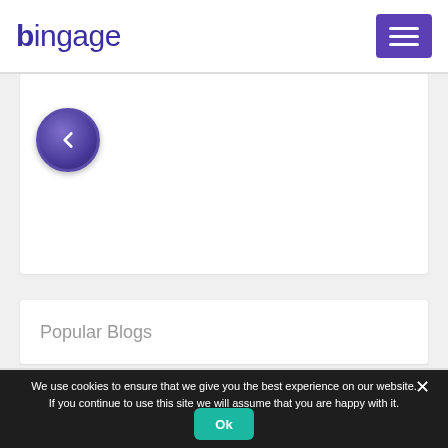[Figure (logo): Bingage logo — stylized text 'bingage' in dark purple/indigo color with a small icon on the 'b']
[Figure (other): Purple hamburger menu button (three horizontal white lines on purple background)]
[Figure (other): White carousel/slider area with a circular purple back-arrow navigation button on the left side]
Popular Blogs
We use cookies to ensure that we give you the best experience on our website. If you continue to use this site we will assume that you are happy with it.
[Figure (other): Teal/green 'Ok' button for cookie consent]